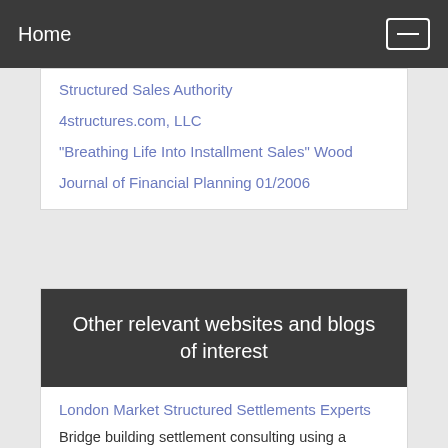Home
Structured Sales Authority
4structures.com, LLC
"Breathing Life Into Installment Sales" Wood
Journal of Financial Planning 01/2006
Other relevant websites and blogs of interest
London Market Structured Settlements Experts
Bridge building settlement consulting using a humanistic process, providing creative and reliable support for London Market Insurers, Lloyds Syndicates, Claims Professionals and Lawyers